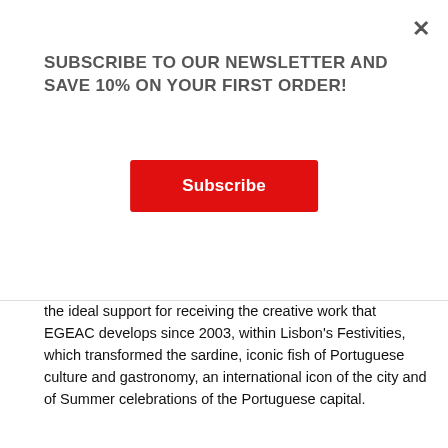SUBSCRIBE TO OUR NEWSLETTER AND SAVE 10% ON YOUR FIRST ORDER!
the ideal support for receiving the creative work that EGEAC develops since 2003, within Lisbon’s Festivities, which transformed the sardine, iconic fish of Portuguese culture and gastronomy, an international icon of the city and of Summer celebrations of the Portuguese capital.
SHARE   TWEET
CUSTOMER REVIEWS
Be the first to write a review
Write a review